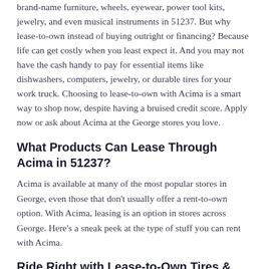brand-name furniture, wheels, eyewear, power tool kits, jewelry, and even musical instruments in 51237. But why lease-to-own instead of buying outright or financing? Because life can get costly when you least expect it. And you may not have the cash handy to pay for essential items like dishwashers, computers, jewelry, or durable tires for your work truck. Choosing to lease-to-own with Acima is a smart way to shop now, despite having a bruised credit score. Apply now or ask about Acima at the George stores you love.
What Products Can Lease Through Acima in 51237?
Acima is available at many of the most popular stores in George, even those that don't usually offer a rent-to-own option. With Acima, leasing is an option in stores across George. Here's a sneak peek at the type of stuff you can rent with Acima.
Ride Right with Lease-to-Own Tires & Wheels...